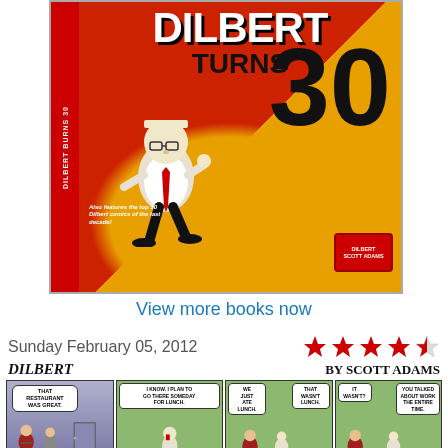[Figure (illustration): Book cover advertisement for 'Dilbert Turns 30' showing Dilbert character celebrating, with red and orange background design and a 'BUY NOW!' button at the bottom]
View more books now
Sunday February 05, 2012
[Figure (illustration): 4-star rating (approximately 4 out of 5 stars) shown as red star icons]
DILBERT
BY SCOTT ADAMS
[Figure (illustration): Dilbert comic strip panels from Sunday February 05, 2012. Panel 1: character says 'THAT RESTAURANT WAS GREAT.' Panel 2: Dilbert says 'I KNOW. I PLAN TO GO THERE SOMEDAY FOR LUNCH.' Panel 3: Two characters, one says 'WE JUST ATE LUNCH.' other says 'THAT WASN'T LUNCH.' Panel 4: One says 'IT WASN'T?' other says 'YOU TALKED ABOUT WORK THE ENTIRE TIME.']